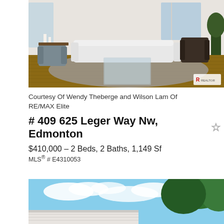[Figure (photo): Interior living room photo showing a modern furnished space with white sofa, mid-century chairs, glass coffee table, large rug, hardwood floors, and bright windows. REALTOR logo in bottom right corner.]
Courtesy Of Wendy Theberge and Wilson Lam Of RE/MAX Elite
# 409 625 Leger Way Nw, Edmonton ☆
$410,000 - 2 Beds, 2 Baths, 1,149 Sf
MLS® # E4310053
[Figure (photo): Exterior photo showing building roofline with blue sky, white clouds, and green trees in the background.]